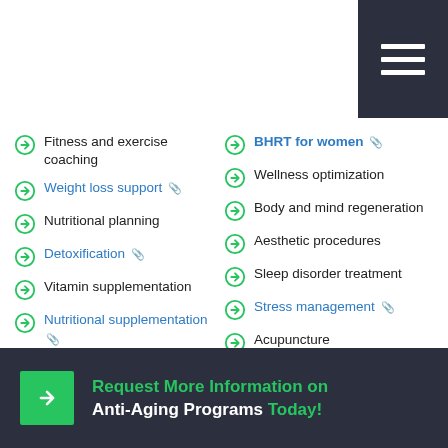Fitness and exercise coaching
Weight loss support (link)
Nutritional planning
Detoxification (link)
Vitamin supplementation
Nutritional supplementation (link)
Regenerative medicine
Hormone therapy (link)
BHRT for men (link)
BHRT for women (link)
Wellness optimization
Body and mind regeneration
Aesthetic procedures
Sleep disorder treatment
Stress management (link)
Acupuncture
Spiritual balance
Meditation and prayer
Request More Information on Anti-Aging Programs Today!